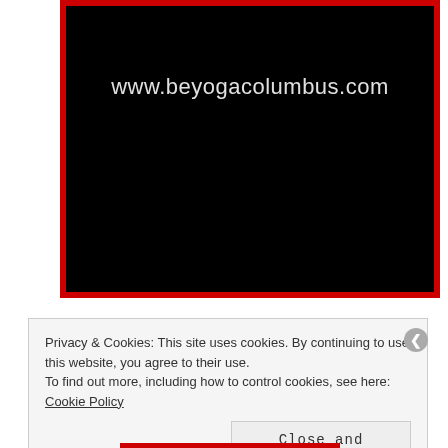[Figure (screenshot): Black banner image with red border containing the URL text 'www.beyogacolumbus.com' in light gray/white text on a black background]
Privacy & Cookies: This site uses cookies. By continuing to use this website, you agree to their use.
To find out more, including how to control cookies, see here: Cookie Policy
Close and accept